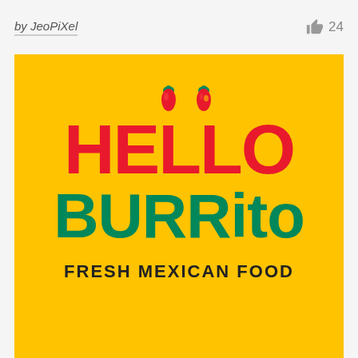by JeoPiXel   👍 24
[Figure (logo): Hello Burrito Fresh Mexican Food logo on yellow background. 'HELLO' in large red rounded bold text with two red chili pepper illustrations above the two L letters. 'BURRITO' in large teal/green rounded bold text below. 'FRESH MEXICAN FOOD' in black bold uppercase text at bottom.]